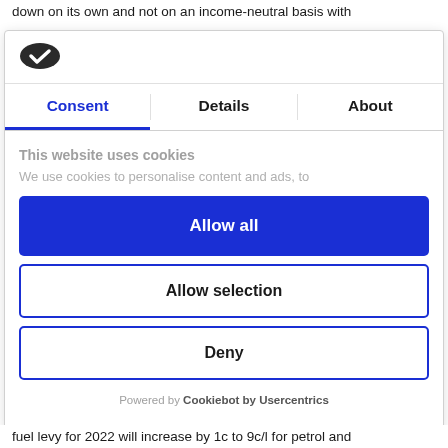down on its own and not on an income-neutral basis with
[Figure (logo): Cookiebot logo: dark oval shape with white checkmark]
Consent | Details | About (tabs)
This website uses cookies
We use cookies to personalise content and ads, to
Allow all
Allow selection
Deny
Powered by Cookiebot by Usercentrics
fuel levy for 2022 will increase by 1c to 9c/l for petrol and